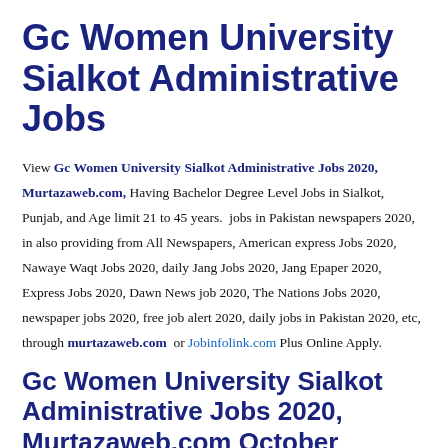Gc Women University Sialkot Administrative Jobs
View Gc Women University Sialkot Administrative Jobs 2020, Murtazaweb.com, Having Bachelor Degree Level Jobs in Sialkot, Punjab, and Age limit 21 to 45 years. jobs in Pakistan newspapers 2020, in also providing from All Newspapers, American express Jobs 2020, Nawaye Waqt Jobs 2020, daily Jang Jobs 2020, Jang Epaper 2020, Express Jobs 2020, Dawn News job 2020, The Nations Jobs 2020, newspaper jobs 2020, free job alert 2020, daily jobs in Pakistan 2020, etc, through murtazaweb.com or Jobinfolink.com Plus Online Apply.
Gc Women University Sialkot Administrative Jobs 2020, Murtazaweb.com October